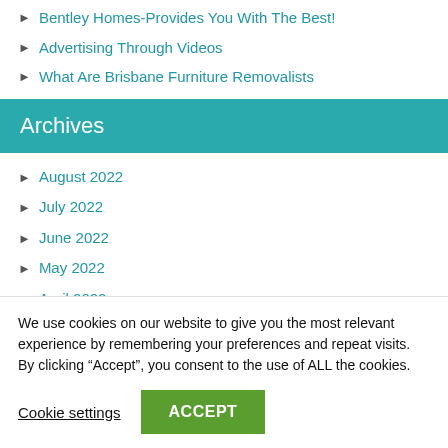Bentley Homes-Provides You With The Best!
Advertising Through Videos
What Are Brisbane Furniture Removalists
Archives
August 2022
July 2022
June 2022
May 2022
April 2022
March 2022
February 2022
We use cookies on our website to give you the most relevant experience by remembering your preferences and repeat visits. By clicking “Accept”, you consent to the use of ALL the cookies.
Cookie settings  ACCEPT